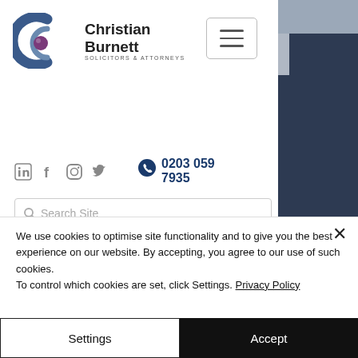[Figure (logo): Christian Burnett Solicitors & Attorneys logo with circular blue and purple graphic]
[Figure (other): Hamburger menu button (three horizontal lines in a rounded rectangle)]
0203 059 7935
[Figure (other): Social media icons: LinkedIn, Facebook, Instagram, Twitter]
[Figure (other): Search site input field with magnifying glass icon]
ys is a m Ltd, a private limited company registered in England & Wales with registration No: 7795154.
Registered Office: Level 18, 40 Bank Street, Canary Wharf, London, E14 5NR. VAT N...
We use cookies to optimise site functionality and to give you the best experience on our website. By accepting, you agree to our use of such cookies.
To control which cookies are set, click Settings. Privacy Policy
Settings
Accept